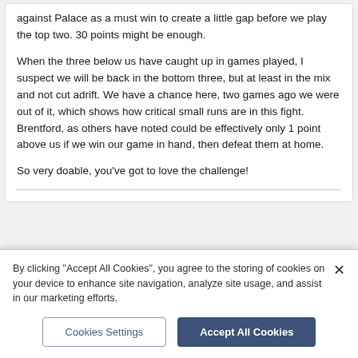against Palace as a must win to create a little gap before we play the top two.  30 points might be enough.
When the three below us have caught up in games played, I suspect we will be back in the bottom three, but at least in the mix and not cut adrift. We have a chance here, two games ago we were out of it, which shows how critical small runs are in this fight. Brentford, as others have noted could be effectively only 1 point above us if we win our game in hand, then defeat them at home.
So very doable, you've got to love the challenge!
[Figure (photo): User avatar thumbnail for Google Bot]
Google Bot  1,085
By clicking "Accept All Cookies", you agree to the storing of cookies on your device to enhance site navigation, analyze site usage, and assist in our marketing efforts.